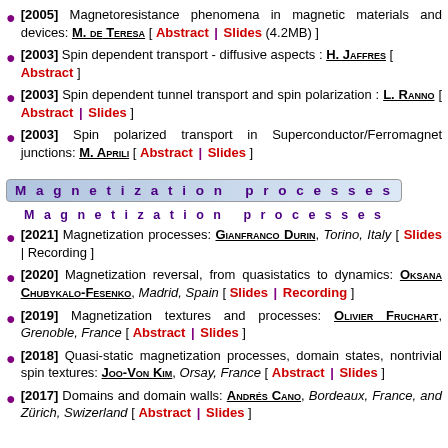[2005] Magnetoresistance phenomena in magnetic materials and devices: M. de Teresa [ Abstract | Slides (4.2MB) ]
[2003] Spin dependent transport - diffusive aspects : H. Jaffres [ Abstract ]
[2003] Spin dependent tunnel transport and spin polarization : L. Ranno [ Abstract | Slides ]
[2003] Spin polarized transport in Superconductor/Ferromagnet junctions: M. Aprili [ Abstract | Slides ]
Magnetization processes
Magnetization processes
[2021] Magnetization processes: Gianfranco Durin, Torino, Italy [ Slides | Recording ]
[2020] Magnetization reversal, from quasistatics to dynamics: Oksana Chubykalo-Fesenko, Madrid, Spain [ Slides | Recording ]
[2019] Magnetization textures and processes: Olivier Fruchart, Grenoble, France [ Abstract | Slides ]
[2018] Quasi-static magnetization processes, domain states, nontrivial spin textures: Joo-Von Kim, Orsay, France [ Abstract | Slides ]
[2017] Domains and domain walls: Andrés Cano, Bordeaux, France, and Zürich, Swizerland [ Abstract | Slides ]